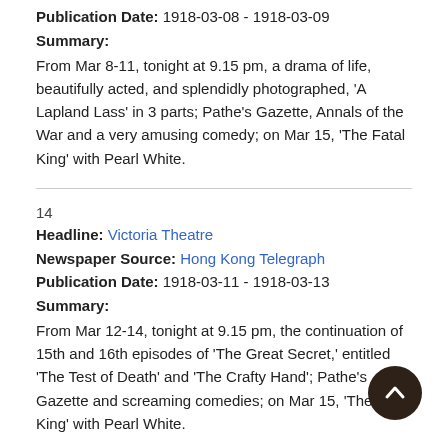Publication Date: 1918-03-08 - 1918-03-09
Summary:
From Mar 8-11, tonight at 9.15 pm, a drama of life, beautifully acted, and splendidly photographed, 'A Lapland Lass' in 3 parts; Pathe's Gazette, Annals of the War and a very amusing comedy; on Mar 15, 'The Fatal King' with Pearl White.
14
Headline: Victoria Theatre
Newspaper Source: Hong Kong Telegraph
Publication Date: 1918-03-11 - 1918-03-13
Summary:
From Mar 12-14, tonight at 9.15 pm, the continuation of 15th and 16th episodes of 'The Great Secret,' entitled 'The Test of Death' and 'The Crafty Hand'; Pathe's Gazette and screaming comedies; on Mar 15, 'The Fatal King' with Pearl White.
15
Headline: Victoria Theatre
Newspaper Source: Hong Kong Telegraph
Publication Date: 1919-07-23 - 1919-08-06